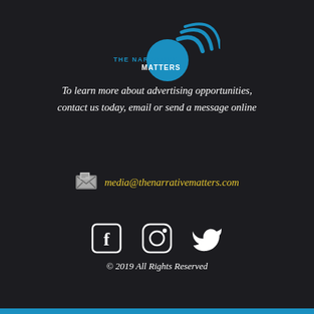[Figure (logo): The Narrative Matters logo with blue circle, wifi/signal arcs, and text 'THE NARRATIVE MATTERS']
To learn more about advertising opportunities, contact us today, email or send a message online
media@thenarrativematters.com
[Figure (infographic): Social media icons: Facebook, Instagram, Twitter in white]
© 2019 All Rights Reserved